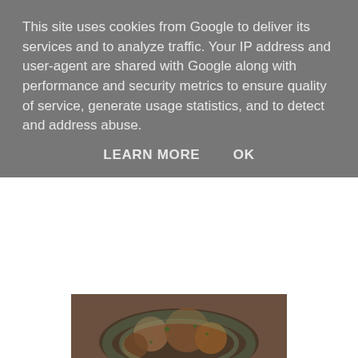This site uses cookies from Google to deliver its services and to analyze traffic. Your IP address and user-agent are shared with Google along with performance and security metrics to ensure quality of service, generate usage statistics, and to detect and address abuse.
LEARN MORE    OK
[Figure (photo): A plate of browned meat pieces with herbs and garnishes on a blue-green plate, viewed from above.]
To the same pan that you used to brown the meat, add the garlic, onion, piquillo peppers, and sauté for about 10 minutes.
[Figure (photo): A close-up photo of food being cooked in a pan, partially visible at the bottom of the page.]